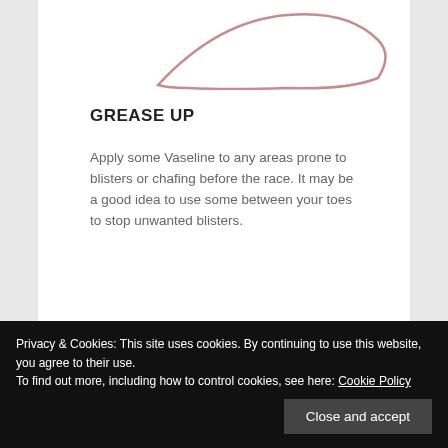[Figure (illustration): Partial view of a shoe or foot outline illustration, cropped at the top of the page, showing a rounded shape with a pink/rose colored outline on white background.]
GREASE UP
Apply some Vaseline to any areas prone to blisters or chafing before the race. It may be a good idea to use some between your toes to stop unwanted blisters.
Privacy & Cookies: This site uses cookies. By continuing to use this website, you agree to their use.
To find out more, including how to control cookies, see here: Cookie Policy
Close and accept